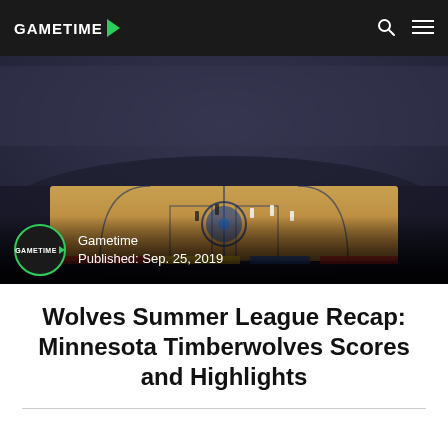GAMETIME
[Figure (photo): Minnesota Timberwolves arena interior showing basketball court from elevated angle with packed crowd in stands]
Gametime
Published: Sep. 25, 2019
Wolves Summer League Recap: Minnesota Timberwolves Scores and Highlights